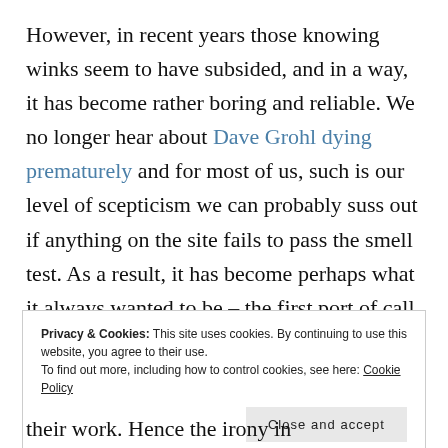However, in recent years those knowing winks seem to have subsided, and in a way, it has become rather boring and reliable. We no longer hear about Dave Grohl dying prematurely and for most of us, such is our level of scepticism we can probably suss out if anything on the site fails to pass the smell test. As a result, it has become perhaps what it always wanted to be – the first port of call for quick information.
Privacy & Cookies: This site uses cookies. By continuing to use this website, you agree to their use. To find out more, including how to control cookies, see here: Cookie Policy
Close and accept
their work. Hence the irony in recommending the